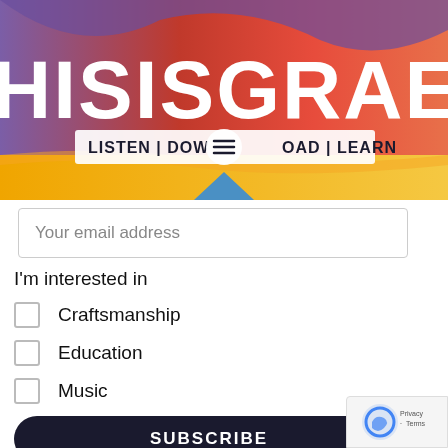[Figure (screenshot): Website header banner with colorful gradient background (purple, red, orange, yellow) showing partial text 'HISISGRAEN' in large white bold font, and below it a white banner reading 'LISTEN | DOWNLOAD | LEARN'. A hamburger menu icon overlaps the text. A blue triangular shape appears at the bottom center.]
Your email address
I'm interested in
Craftsmanship
Education
Music
Writing
SUBSCRIBE
We won't send you spam. Unsubscribe at any time.